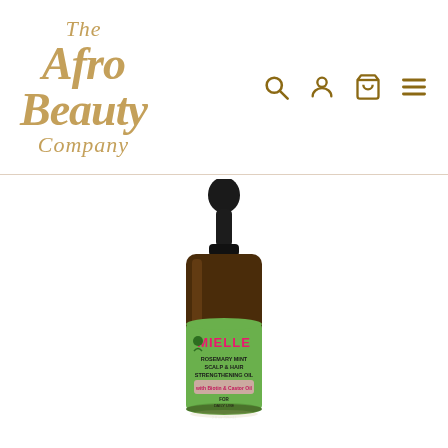The AfroBeauty Company — navigation header with search, account, cart, and menu icons
[Figure (photo): Mielle Rosemary Mint Scalp & Hair Strengthening Oil product bottle - amber glass dropper bottle with green label showing MIELLE branding, ROSEMARY MINT SCALP & HAIR STRENGTHENING OIL text, for daily use scalp treatment and hair and care, 2 fl oz (59ml)]